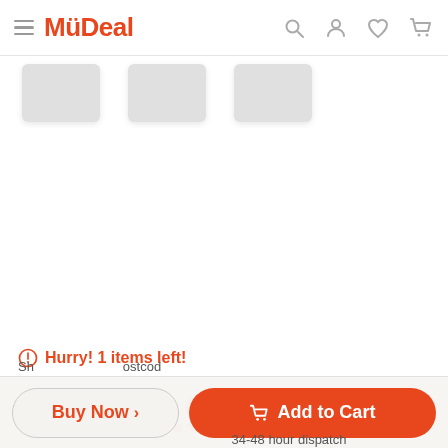MyDeal
[Figure (screenshot): Partial product image thumbnails strip, three grey thumbnail images partially visible]
⊙ Hurry! 1 items left!
Price  $31.99
Buy Now >
🛒 Add to Cart
34-48 hour dispatch